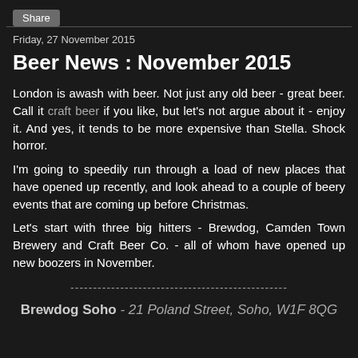Share
Friday, 27 November 2015
Beer News : November 2015
London is awash with beer. Not just any old beer - great beer. Call it craft beer if you like, but let's not argue about it - enjoy it. And yes, it tends to be more expensive than Stella. Shock horror.
I'm going to speedily run through a load of new places that have opened up recently, and look ahead to a couple of beery events that are coming up before Christmas.
Let's start with three big hitters - Brewdog, Camden Town Brewery and Craft Beer Co. - all of whom have opened up new boozers in November.
------------------------------------------------
Brewdog Soho - 21 Poland Street, Soho, W1F 8QG